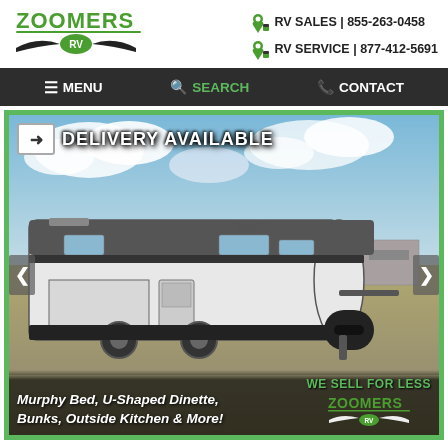[Figure (logo): Zoomers RV logo with green text and wing/chevron design]
RV SALES | 855-263-0458
RV SERVICE | 877-412-5691
MENU  SEARCH  CONTACT
[Figure (photo): Travel trailer RV (Open Range brand) parked on gravel lot with cloudy sky. White exterior with black accents. Shows side and front of unit. Features delivery available banner at top, left/right navigation arrows, and overlay text at bottom.]
DELIVERY AVAILABLE
Murphy Bed, U-Shaped Dinette, Bunks, Outside Kitchen & More!
WE SELL FOR LESS
[Figure (logo): Zoomers RV logo white version in bottom right overlay]